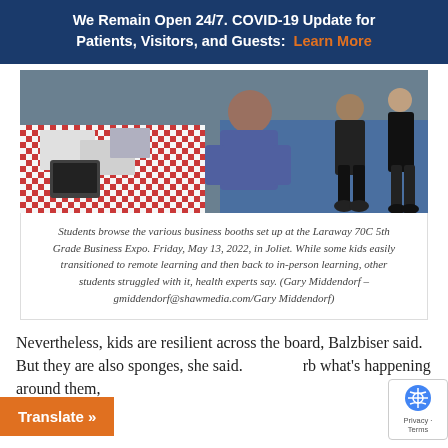We Remain Open 24/7. COVID-19 Update for Patients, Visitors, and Guests: Learn More
[Figure (photo): Students browsing business booths at the Laraway 70C 5th Grade Business Expo, children in a school hallway setting with a red checkered tablecloth table in the foreground]
Students browse the various business booths set up at the Laraway 70C 5th Grade Business Expo. Friday, May 13, 2022, in Joliet. While some kids easily transitioned to remote learning and then back to in-person learning, other students struggled with it, health experts say. (Gary Middendorf – gmiddendorf@shawmedia.com/Gary Middendorf)
Nevertheless, kids are resilient across the board, Balzbiser said. But they are also sponges, she said. rb what's happening around them,